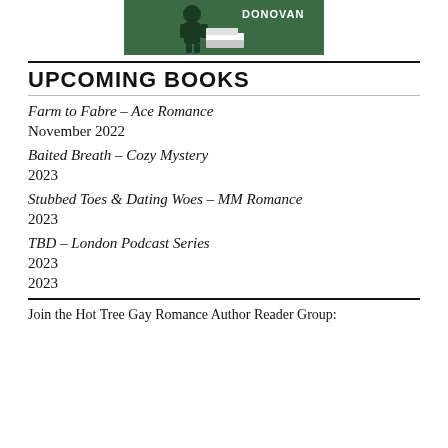[Figure (illustration): Book cover or logo illustration with a green background, showing a stylized figure and books, with text 'DONOVAN' visible]
UPCOMING BOOKS
Farm to Fabre – Ace Romance
November 2022
Baited Breath – Cozy Mystery
2023
Stubbed Toes & Dating Woes – MM Romance
2023
TBD – London Podcast Series
2023
2023
Join the Hot Tree Gay Romance Author Reader Group: